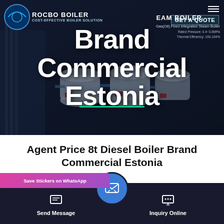[Figure (screenshot): Hero banner of a boiler manufacturer website (ROCBO BOILER) showing industrial steam boilers in a dark warehouse background with overlay text 'Brand Commercial Estonia' in large white bold font. Top-left has the ROCBO BOILER logo. Top-right has a hamburger menu icon and 'GET A QUOTE' button. A steam boiler product label and specs are partially visible. A green underline appears near the bottom of the hero.]
Agent Price 8t Diesel Boiler Brand Commercial Estonia
[Figure (screenshot): Bottom navigation bar of a mobile website with a pink/purple 'Save Stickers on WhatsApp' banner, a dark bottom bar with 'Send Message' button on the left, a blue circular email/message icon in the center, and 'Inquiry Online' button on the right.]